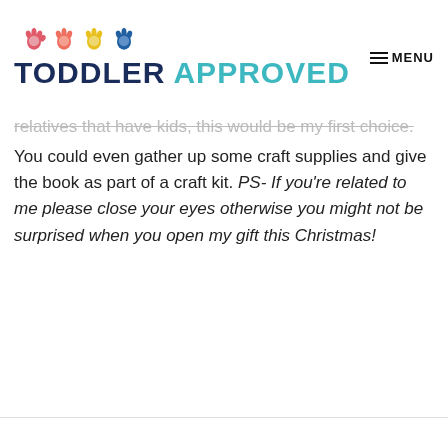TODDLER APPROVED | MENU
relatives that have kids, this would be my first choice. You could even gather up some craft supplies and give the book as part of a craft kit. PS- If you're related to me please close your eyes otherwise you might not be surprised when you open my gift this Christmas!